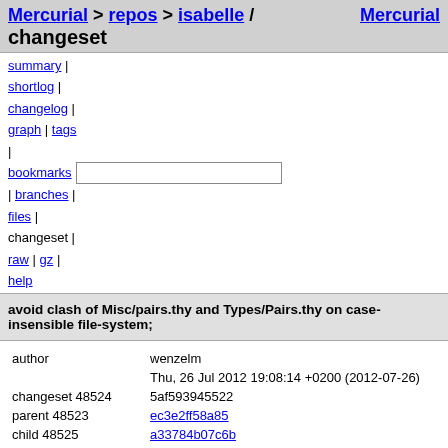Mercurial > repos > isabelle / changeset   Mercurial
summary | shortlog | changelog | graph | tags | bookmarks | branches | files | changeset | raw | gz | help
avoid clash of Misc/pairs.thy and Types/Pairs.thy on case-insensible file-system;
| field | value |
| --- | --- |
| author | wenzelm |
|  | Thu, 26 Jul 2012 19:08:14 +0200 (2012-07-26) |
| changeset 48524 | 5af593945522 |
| parent 48523 | ec3e2ff58a85 |
| child 48525 | a33784b07c6b |
avoid clash of Misc/pairs.thy and Types/Pairs.thy on case-i
doc-src/TutorialI/IsaMakefile    file | annotate | diff | comparison | revisions